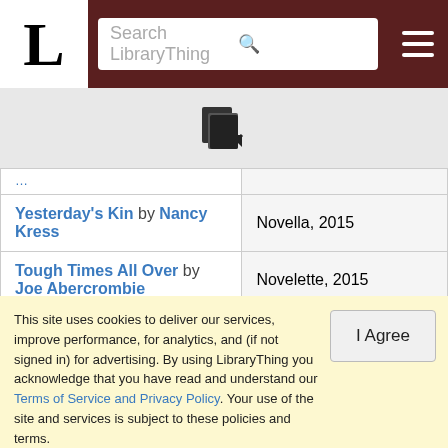LibraryThing header with logo L, search bar, and menu
[Figure (other): Import/export icon with arrow]
| Title / Author | Type, Year |
| --- | --- |
| Yesterday's Kin by Nancy Kress | Novella, 2015 |
| Tough Times All Over by Joe Abercrombie | Novelette, 2015 |
| The Truth About Owls by Amal El-Mohtar | Short Story, 2015 |
| Last Plane to Heaven: The Final Collection by Jay Lake | Collection, 2015 |
This site uses cookies to deliver our services, improve performance, for analytics, and (if not signed in) for advertising. By using LibraryThing you acknowledge that you have read and understand our Terms of Service and Privacy Policy. Your use of the site and services is subject to these policies and terms.